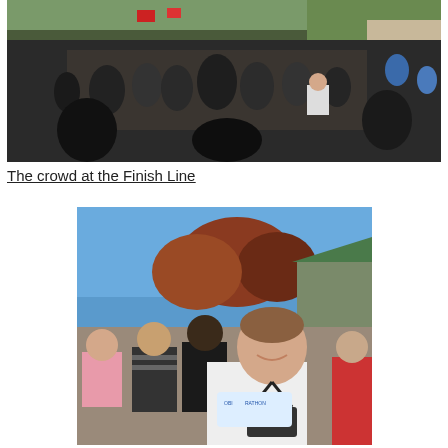[Figure (photo): A large crowd of people gathered at a Finish Line event outdoors. The crowd is dense, with colorful flags and banners visible in the background. Trees and buildings are visible in the distance. The photo is taken from ground level looking out over the crowd.]
The crowd at the Finish Line
[Figure (photo): A smiling woman wearing a white marathon race shirt and a lanyard/medal around her neck stands in the foreground. Behind her is a crowd of people and trees with autumn foliage under a clear blue sky. The shirt reads 'MARATHON' and appears to be from an Oktoberfest or similar race event.]